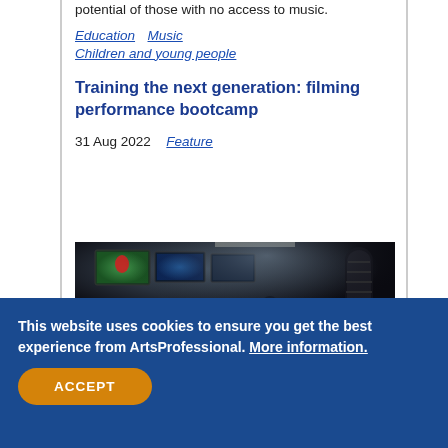potential of those with no access to music.
Education   Music
Children and young people
Training the next generation: filming performance bootcamp
31 Aug 2022   Feature
[Figure (photo): Dark broadcast/production control room with people working at a mixing desk with multiple screens, a microphone in the foreground]
This website uses cookies to ensure you get the best experience from ArtsProfessional. More information.
ACCEPT